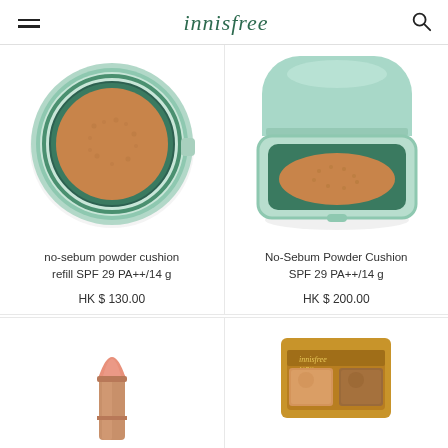innisfree
[Figure (photo): No-sebum powder cushion refill product image, mint green round compact without lid, tan sponge visible]
no-sebum powder cushion refill SPF 29 PA++/14 g
HK $ 130.00
[Figure (photo): No-Sebum Powder Cushion product image, mint green compact with rounded lid open showing tan sponge]
No-Sebum Powder Cushion SPF 29 PA++/14 g
HK $ 200.00
[Figure (photo): Pink lipstick tube, rose gold metallic barrel, partially open showing peachy pink bullet]
[Figure (photo): innisfree airy eyeshadow duo palette in gold packaging, two shimmer shades visible]